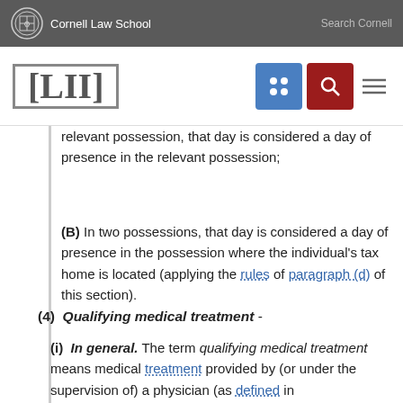Cornell Law School — Search Cornell
[Figure (logo): LII Legal Information Institute logo with Cornell Law School header navigation including grid and search icons]
relevant possession, that day is considered a day of presence in the relevant possession;
(B) In two possessions, that day is considered a day of presence in the possession where the individual's tax home is located (applying the rules of paragraph (d) of this section).
(4) Qualifying medical treatment -
(i) In general. The term qualifying medical treatment means medical treatment provided by (or under the supervision of) a physician (as defined in